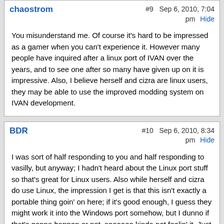chaostrom
#9   Sep 6, 2010, 7:04 pm   Hide
You misunderstand me. Of course it's hard to be impressed as a gamer when you can't experience it. However many people have inquired after a linux port of IVAN over the years, and to see one after so many have given up on it is impressive. Also, I believe herself and cizra are linux users, they may be able to use the improved modding system on IVAN development.
BDR
#10   Sep 6, 2010, 8:34 pm   Hide
I was sort of half responding to you and half responding to vasilly, but anyway; I hadn't heard about the Linux port stuff so that's great for Linux users. Also while herself and cizra do use Linux, the impression I get is that this isn't exactly a portable thing goin' on here; if it's good enough, I guess they might work it into the Windows port somehow, but I dunno if that's gonna happen or not, soooooo kinda not feelin' it. Just my two cents on the whole thing.
vasiliy
#11   Sep 6, 2010, 9:26 pm   Hide